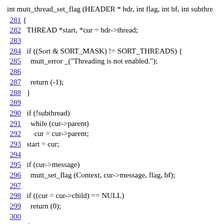int mutt_thread_set_flag (HEADER * hdr, int flag, int bf, int subthre
281 {
282   THREAD *start, *cur = hdr->thread;
283
284   if ((Sort & SORT_MASK) != SORT_THREADS) {
285     mutt_error _("Threading is not enabled.");
286
287     return (-1);
288   }
289
290   if (!subthread)
291     while (cur->parent)
292       cur = cur->parent;
293   start = cur;
294
295   if (cur->message)
296     mutt_set_flag (Context, cur->message, flag, bf);
297
298   if ((cur = cur->child) == NULL)
299     return (0);
300
301   for (;;) {
302     if (cur->message)
303       mutt_set_flag (Context, cur->message, flag, bf);
304